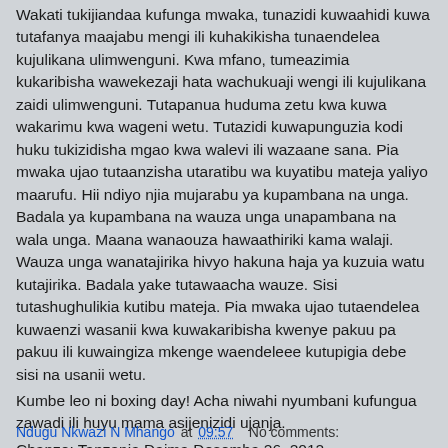Wakati tukijiandaa kufunga mwaka, tunazidi kuwaahidi kuwa tutafanya maajabu mengi ili kuhakikisha tunaendelea kujulikana ulimwenguni. Kwa mfano, tumeazimia kukaribisha wawekezaji hata wachukuaji wengi ili kujulikana zaidi ulimwenguni. Tutapanua huduma zetu kwa kuwa wakarimu kwa wageni wetu. Tutazidi kuwapunguzia kodi huku tukizidisha mgao kwa walevi ili wazaane sana. Pia mwaka ujao tutaanzisha utaratibu wa kuyatibu mateja yaliyo maarufu. Hii ndiyo njia mujarabu ya kupambana na unga. Badala ya kupambana na wauza unga unapambana na wala unga. Maana wanaouza hawaathiriki kama walaji. Wauza unga wanatajirika hivyo hakuna haja ya kuzuia watu kutajirika. Badala yake tutawaacha wauze. Sisi tutashughulikia kutibu mateja. Pia mwaka ujao tutaendelea kuwaenzi wasanii kwa kuwakaribisha kwenye pakuu pa pakuu ili kuwaingiza mkenge waendeleee kutupigia debe sisi na usanii wetu.
Kumbe leo ni boxing day! Acha niwahi nyumbani kufungua zawadi ili huyu mama asijenizidi ujanja.
Chanzo: Tanzania Daima Desemba 26, 2012.
Ndugu Nkwazi N Mhango at 09:57    No comments: